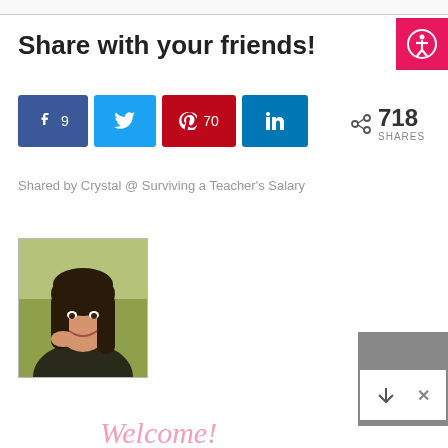Share with your friends!
[Figure (infographic): Social share buttons: Facebook (9), Twitter, Pinterest (70), LinkedIn; showing 718 total shares with share icon]
Shared by Crystal @ Surviving a Teacher's Salary
[Figure (photo): Portrait photo of a young woman with long dark hair, smiling, resting her chin on her hand, outdoors with green/blurred background]
Welcome!